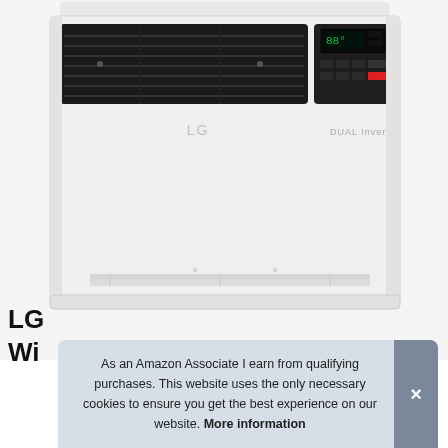[Figure (photo): LG DUAL Inverter window air conditioner unit, white, with black front grille/vent panel and control buttons on upper right, photographed from front on white background]
LG
Wi
As an Amazon Associate I earn from qualifying purchases. This website uses the only necessary cookies to ensure you get the best experience on our website. More information